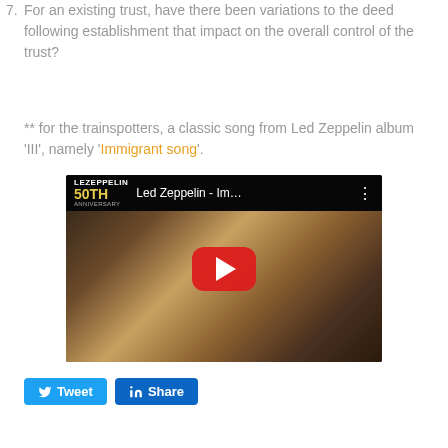7. For an existing trust, have there been variations to the deed following establishment that impact on the overall control of the trust?
** for the trainspotters, a classic song from Led Zeppelin album 'III', namely 'Immigrant song'.
[Figure (screenshot): YouTube video embed showing Led Zeppelin - Im... video with play button]
[Figure (other): Twitter Tweet button and LinkedIn Share button]